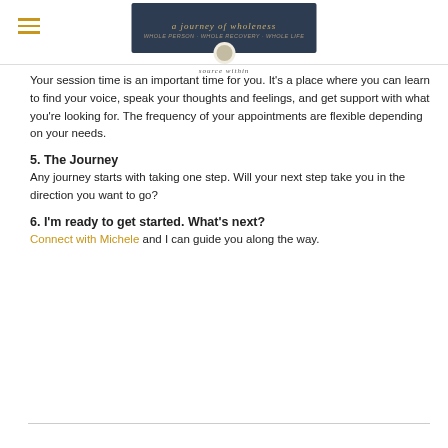a journey of wholeness — source within
Your session time is an important time for you. It's a place where you can learn to find your voice, speak your thoughts and feelings, and get support with what you're looking for. The frequency of your appointments are flexible depending on your needs.
5. The Journey
Any journey starts with taking one step. Will your next step take you in the direction you want to go?
6. I'm ready to get started. What's next?
Connect with Michele and I can guide you along the way.